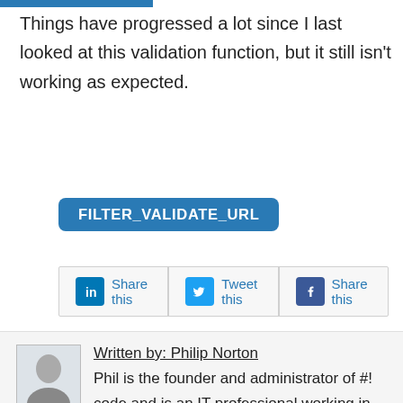Things have progressed a lot since I last looked at this validation function, but it still isn't working as expected.
FILTER_VALIDATE_URL
[Figure (other): Social sharing bar with LinkedIn 'Share this', Twitter 'Tweet this', and Facebook 'Share this' buttons]
Written by: Philip Norton
Phil is the founder and administrator of #! code and is an IT professional working in the North West of the UK. Graduating in 2003 from Aberystwyth University with an MSc in Computer Science Phil has previously worked as